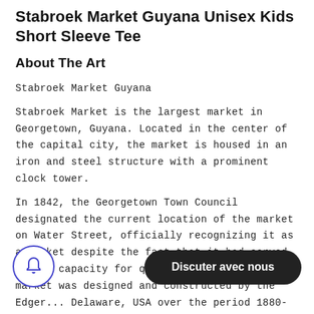Stabroek Market Guyana Unisex Kids Short Sleeve Tee
About The Art
Stabroek Market Guyana
Stabroek Market is the largest market in Georgetown, Guyana. Located in the center of the capital city, the market is housed in an iron and steel structure with a prominent clock tower.
In 1842, the Georgetown Town Council designated the current location of the market on Water Street, officially recognizing it as a market despite the fact that it had served such a capacity for quite some time. The market was designed and constructed by the Edger... Delaware, USA over the period 1880-1...
Construction of the iron and steel structure...